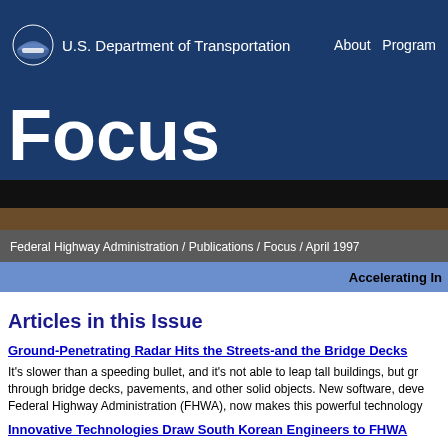U.S. Department of Transportation   About  Program
Focus
Federal Highway Administration / Publications / Focus / April 1997
Accelerating In
Articles in this Issue
Ground-Penetrating Radar Hits the Streets-and the Bridge Decks
It's slower than a speeding bullet, and it's not able to leap tall buildings, but gr through bridge decks, pavements, and other solid objects. New software, deve Federal Highway Administration (FHWA), now makes this powerful technology
Innovative Technologies Draw South Korean Engineers to FHWA